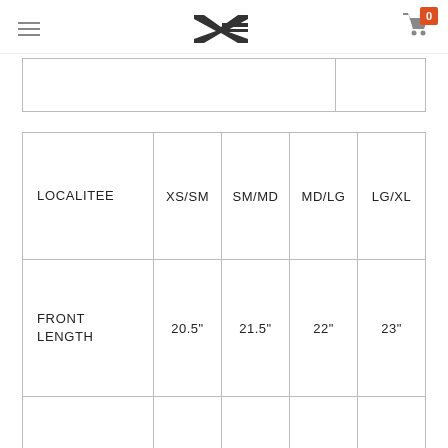Navigation header with hamburger menu, brand logo, and cart icon showing 0 items
| LOCALITEE | XS/SM | SM/MD | MD/LG | LG/XL |
| --- | --- | --- | --- | --- |
| FRONT LENGTH | 20.5" | 21.5" | 22" | 23" |
|  |  |  |  |  |